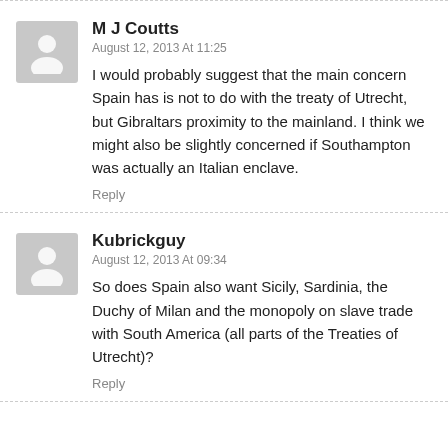M J Coutts
August 12, 2013 At 11:25
I would probably suggest that the main concern Spain has is not to do with the treaty of Utrecht, but Gibraltars proximity to the mainland. I think we might also be slightly concerned if Southampton was actually an Italian enclave.
Reply
Kubrickguy
August 12, 2013 At 09:34
So does Spain also want Sicily, Sardinia, the Duchy of Milan and the monopoly on slave trade with South America (all parts of the Treaties of Utrecht)?
Reply